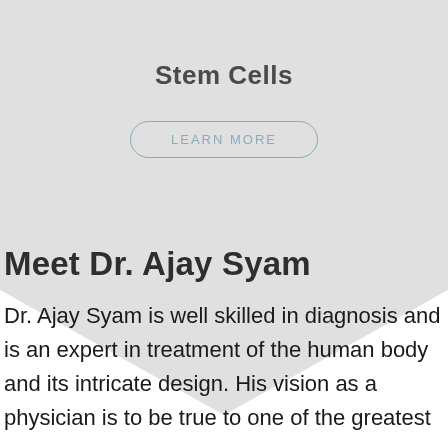Stem Cells
LEARN MORE
Meet Dr. Ajay Syam
Dr. Ajay Syam is well skilled in diagnosis and is an expert in treatment of the human body and its intricate design. His vision as a physician is to be true to one of the greatest...